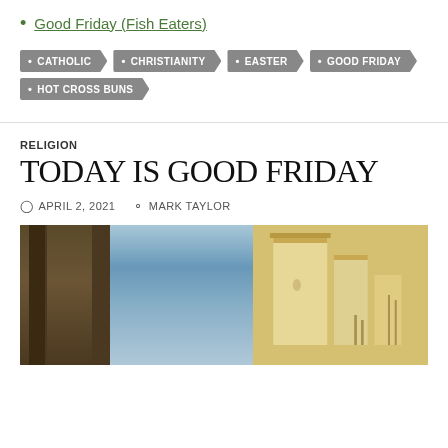Good Friday (Fish Eaters)
• CATHOLIC  • CHRISTIANITY  • EASTER  • GOOD FRIDAY  • HOT CROSS BUNS
RELIGION
TODAY IS GOOD FRIDAY
APRIL 2, 2021   MARK TAYLOR
[Figure (photo): Classical painting showing ancient Roman/Jerusalem architecture with dark stone columns on the left, blue sky in the middle, and golden temple buildings on the right]